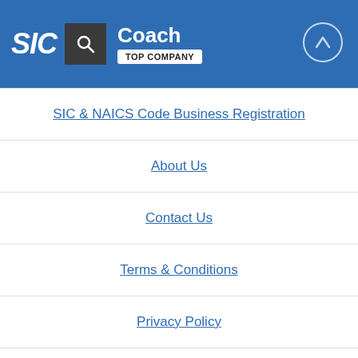SIC | Coach | TOP COMPANY
SIC & NAICS Code Business Registration
About Us
Contact Us
Terms & Conditions
Privacy Policy
Blog